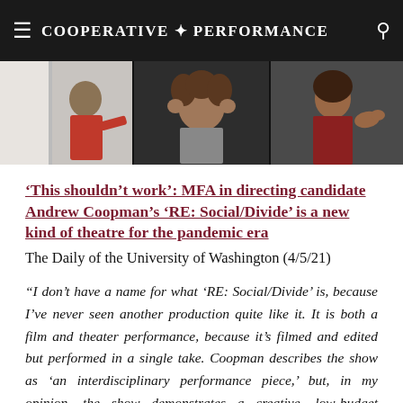Cooperative Performance
[Figure (photo): Three video call panels showing performers: left panel shows a woman in red against a white wall, center panel shows a woman with curly hair and hands raised near her head, right panel shows a woman in dark red making expressive hand gestures.]
‘This shouldn’t work’: MFA in directing candidate Andrew Coopman’s ‘RE: Social/Divide’ is a new kind of theatre for the pandemic era
The Daily of the University of Washington (4/5/21)
"I don’t have a name for what ‘RE: Social/Divide’ is, because I’ve never seen another production quite like it. It is both a film and theater performance, because it’s filmed and edited but performed in a single take. Coopman describes the show as ‘an interdisciplinary performance piece,’ but, in my opinion, the show demonstrates a creative, low-budget filmmaking that is